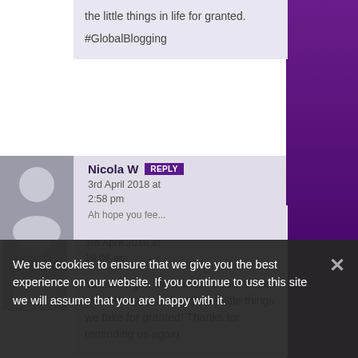the little things in life for granted.

#GlobalBlogging
Mascha
3rd April 2018 at 10:06 am

You are right, life is much better once we start appreciating those little things we take for granted! Thanks for reminding us again
We use cookies to ensure that we give you the best experience on our website. If you continue to use this site we will assume that you are happy with it.
Nicola W
3rd April 2018 at 2:58 pm